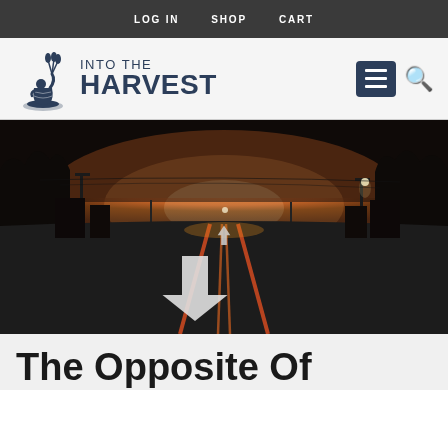LOG IN   SHOP   CART
[Figure (logo): Into The Harvest website logo with figure holding wheat and text INTO THE HARVEST]
[Figure (photo): Dark nighttime street photo with orange sunset on horizon, road arrows painted on asphalt pointing forward and turning left, orange road lane markings visible]
The Opposite Of